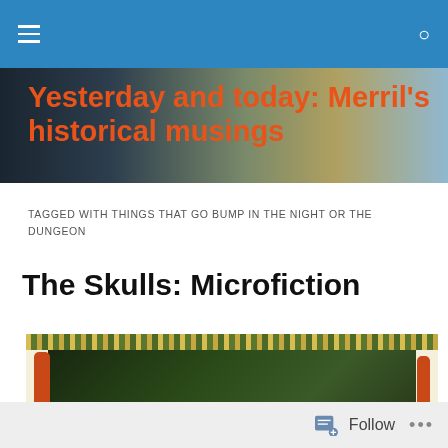Yesterday and today: Merril's historical musings
TAGGED WITH THINGS THAT GO BUMP IN THE NIGHT OR THE DUNGEON
The Skulls: Microfiction
[Figure (illustration): Decorative illustrated panel with orange/red border figures and dark green forest/dungeon scene in center, ornate vegetation strip along top]
Follow